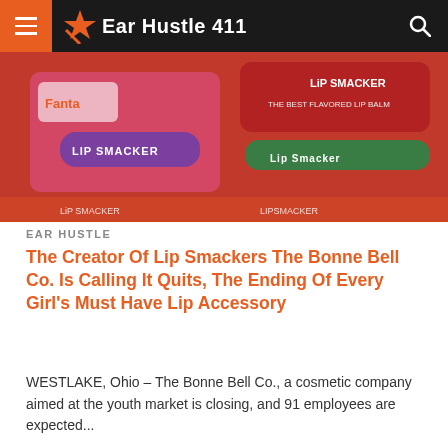Ear Hustle 411
[Figure (photo): Lip Smacker lip balm products in red, purple, and green packaging with colorful branding on a red background.]
EAR HUSTLE
The Creator Of Lip Smackers The Bonne Bell Co. Is Calling It Quits, The Ending Of Every Girl's Must Have Lip Accessory
WESTLAKE, Ohio – The Bonne Bell Co., a cosmetic company aimed at the youth market is closing, and 91 employees are expected...
[Figure (screenshot): Wayfair advertisement banner: Top Appliances Low Prices with an image of a kitchen appliance and 'Save on best selling brands that live up to the hype' with a purple Shop now button.]